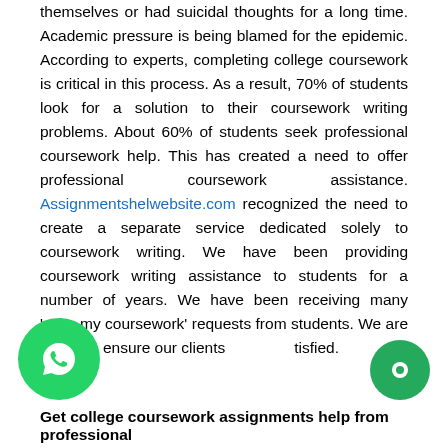themselves or had suicidal thoughts for a long time. Academic pressure is being blamed for the epidemic. According to experts, completing college coursework is critical in this process. As a result, 70% of students look for a solution to their coursework writing problems. About 60% of students seek professional coursework help. This has created a need to offer professional coursework assistance. Assignmentshelwebsite.com recognized the need to create a separate service dedicated solely to coursework writing. We have been providing coursework writing assistance to students for a number of years. We have been receiving many 'write my coursework' requests from students. We are online to ensure our clients satisfied.
[Figure (illustration): WhatsApp chat button icon - green circle with white phone handset inside speech bubble]
[Figure (illustration): Green circle chat/message button icon on bottom right]
Get college coursework assignments help from professional